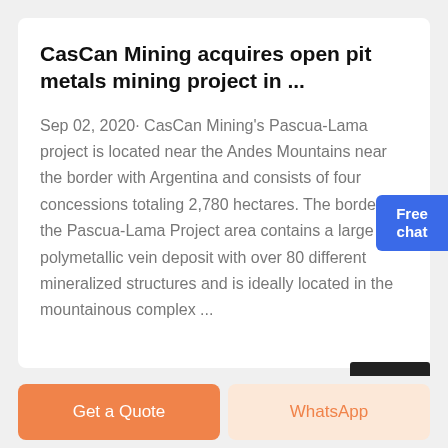CasCan Mining acquires open pit metals mining project in ...
Sep 02, 2020· CasCan Mining's Pascua-Lama project is located near the Andes Mountains near the border with Argentina and consists of four concessions totaling 2,780 hectares. The border of the Pascua-Lama Project area contains a large polymetallic vein deposit with over 80 different mineralized structures and is ideally located in the mountainous complex ...